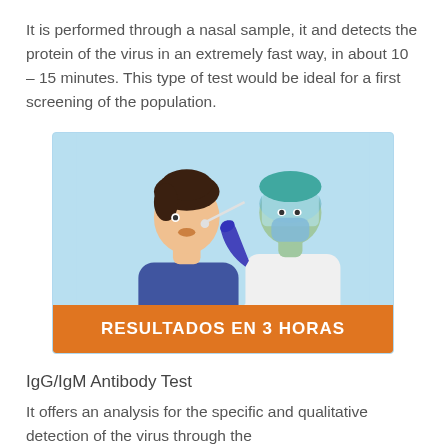It is performed through a nasal sample, it and detects the protein of the virus in an extremely fast way, in about 10 – 15 minutes. This type of test would be ideal for a first screening of the population.
[Figure (illustration): Illustration of a healthcare worker in PPE (face shield, mask, gloves, white coat) performing a nasal swab test on a seated patient. The background is light blue. An orange banner at the bottom reads 'RESULTADOS EN 3 HORAS'.]
IgG/IgM Antibody Test
It offers an analysis for the specific and qualitative detection of the virus through the